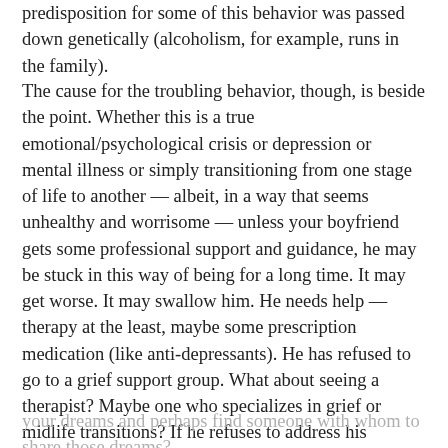predisposition for some of this behavior was passed down genetically (alcoholism, for example, runs in the family).
The cause for the troubling behavior, though, is beside the point. Whether this is a true emotional/psychological crisis or depression or mental illness or simply transitioning from one stage of life to another — albeit, in a way that seems unhealthy and worrisome — unless your boyfriend gets some professional support and guidance, he may be stuck in this way of being for a long time. It may get worse. It may swallow him. He needs help — therapy at the least, maybe some prescription medication (like anti-depressants). He has refused to go to a grief support group. What about seeing a therapist? Maybe one who specializes in grief or midlife transitions? If he refuses to address his behavior and to seek help for the underlying issues, you are at a crossroads. Do you let him pull you down into the sinkhole of grief and depression and whatever else is going on? Or do you set yourself free — free to move on and live your life and pursue
your dreams and perhaps find someone with whom to share those dreams?